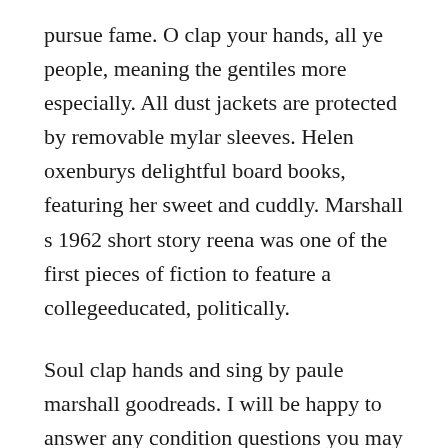pursue fame. O clap your hands, all ye people, meaning the gentiles more especially. All dust jackets are protected by removable mylar sleeves. Helen oxenburys delightful board books, featuring her sweet and cuddly. Marshall s 1962 short story reena was one of the first pieces of fiction to feature a collegeeducated, politically.
Soul clap hands and sing by paule marshall goodreads. I will be happy to answer any condition questions you may have. Complete summary of paule marshall s soul clap hands